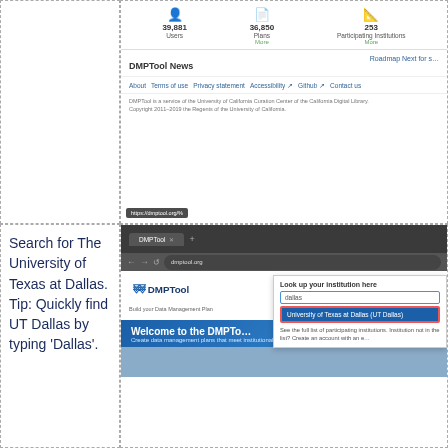[Figure (screenshot): Top-left empty dashed cell, part of a 2x2 grid layout]
[Figure (screenshot): Screenshot of DMPTool dashboard showing stats: 39,881 Users, 36,850 Plans, 253 Participating Institutions. Below is a DMPTool News section, footer links (About, Terms of use, Privacy statement, Accessibility, Github, Contact us), copyright notice, and URL bar showing https://dmptool.org/%]
Search for The University of Texas at Dallas. Tip: Quickly find UT Dallas by typing 'Dallas'.
[Figure (screenshot): Screenshot of DMPTool website (dmptool.org) in a browser, showing the DMPTool logo and a 'Look up your institution here' popup with 'dallas' typed in the search field and 'University of Texas at Dallas (UT Dallas)' highlighted in blue as a result. Below is the Welcome to the DMPTool banner and tagline.]